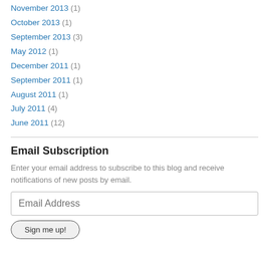November 2013 (1)
October 2013 (1)
September 2013 (3)
May 2012 (1)
December 2011 (1)
September 2011 (1)
August 2011 (1)
July 2011 (4)
June 2011 (12)
Email Subscription
Enter your email address to subscribe to this blog and receive notifications of new posts by email.